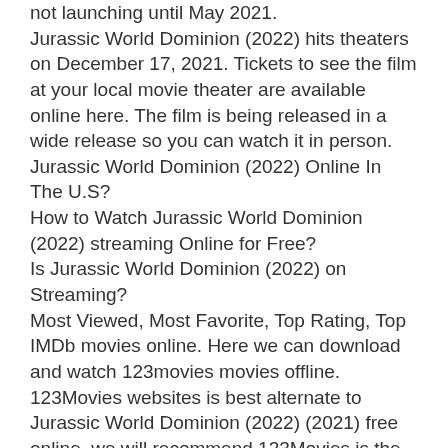not launching until May 2021.
Jurassic World Dominion (2022) hits theaters on December 17, 2021. Tickets to see the film at your local movie theater are available online here. The film is being released in a wide release so you can watch it in person.
Jurassic World Dominion (2022) Online In The U.S?
How to Watch Jurassic World Dominion (2022) streaming Online for Free?
Is Jurassic World Dominion (2022) on Streaming?
Most Viewed, Most Favorite, Top Rating, Top IMDb movies online. Here we can download and watch 123movies movies offline. 123Movies websites is best alternate to Jurassic World Dominion (2022) (2021) free online. we will recommend 123Movies is the best Solarmovie alternatives.
you'll want to make sure you're one of the first people to see it! So mark your calendars